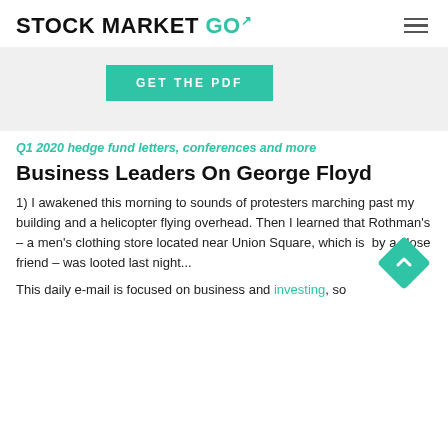STOCK MARKET GO
[Figure (other): GET THE PDF button banner with light grey background]
Q1 2020 hedge fund letters, conferences and more
Business Leaders On George Floyd
1) I awakened this morning to sounds of protesters marching past my building and a helicopter flying overhead. Then I learned that Rothman's – a men's clothing store located near Union Square, which is by a close friend – was looted last night...
This daily e-mail is focused on business and investing, so